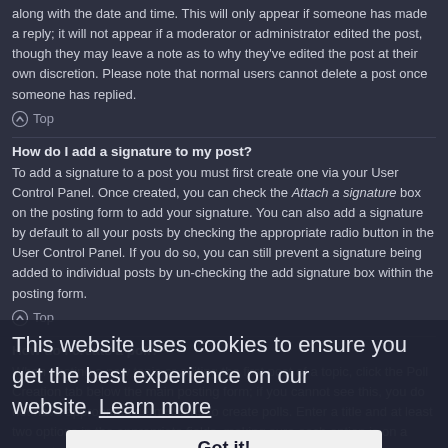along with the date and time. This will only appear if someone has made a reply; it will not appear if a moderator or administrator edited the post, though they may leave a note as to why they've edited the post at their own discretion. Please note that normal users cannot delete a post once someone has replied.
⌃ Top
How do I add a signature to my post?
To add a signature to a post you must first create one via your User Control Panel. Once created, you can check the Attach a signature box on the posting form to add your signature. You can also add a signature by default to all your posts by checking the appropriate radio button in the User Control Panel. If you do so, you can still prevent a signature being added to individual posts by un-checking the add signature box within the posting form.
⌃ Top
How do I create a poll?
When posting a new topic or editing the first post of a topic, click the Poll Creation tab below the main posting form; if you cannot see this, you do not have appropriate permissions to create polls. Enter a title and at least two options in the appropriate fields, making sure each option is on a separate line in the textarea. You can also set the number of options users may select during voting under "Options per user", a time limit in days for the poll (0 for infinite duration) and lastly the option to allow users to amend their votes.
This website uses cookies to ensure you get the best experience on our website. Learn more
Got it!